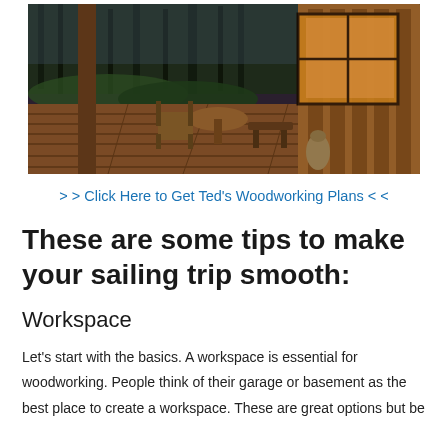[Figure (photo): Wooden cabin deck at dusk with wicker chairs and table, surrounded by forest, warm interior lighting visible through large glass windows]
> > Click Here to Get Ted's Woodworking Plans < <
These are some tips to make your sailing trip smooth:
Workspace
Let's start with the basics. A workspace is essential for woodworking. People think of their garage or basement as the best place to create a workspace. These are great options but be